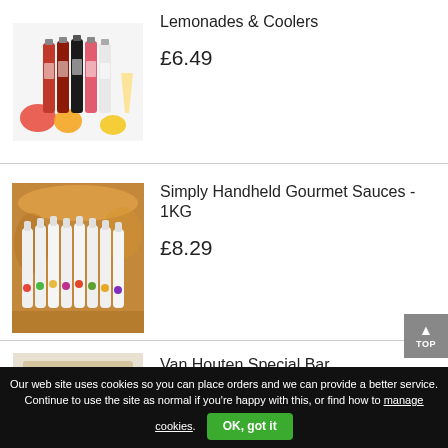[Figure (photo): Product photo of lemonade and cooler bottles with fruit]
Lemonades & Coolers
£6.49
[Figure (photo): Product photo of Simply Handheld Gourmet Sauces 1KG white bottles lined up]
Simply Handheld Gourmet Sauces - 1KG
£8.29
[Figure (photo): Product photo of Van Houten Special Bar Chocolate 1KG (partially visible)]
Van Houten Special Bar Chocolate 1KG
Our web site uses cookies so you can place orders and we can provide a better service. Continue to use the site as normal if you're happy with this, or find how to manage cookies.
OK, got it